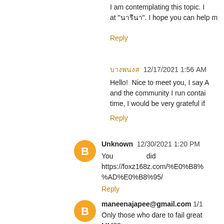I am contemplating this topic. I at "??????". I hope you can help m
Reply
?????? 12/17/2021 1:56 AM
Hello! Nice to meet you, I say A and the community I run contai time, I would be very grateful if
Reply
Unknown 12/30/2021 1:20 PM
You did https://foxz168z.com/%E0%B8% %AD%E0%B8%95/
Reply
maneenajapee@gmail.com 1/1
Only those who dare to fail great
MM88
?????????? ?? ???
MM88